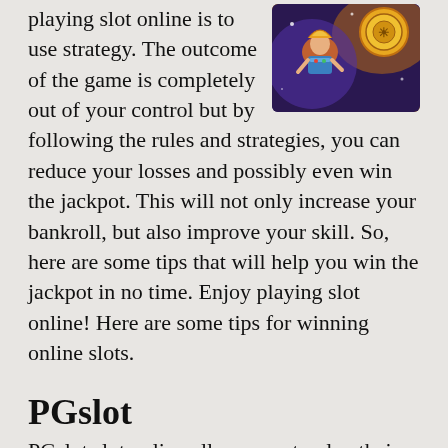[Figure (illustration): Colorful slot machine game illustration with fantasy characters — a woman in ornate costume and golden coin/Aztec imagery, typical online slot game art.]
playing slot online is to use strategy. The outcome of the game is completely out of your control but by following the rules and strategies, you can reduce your losses and possibly even win the jackpot. This will not only increase your bankroll, but also improve your skill. So, here are some tips that will help you win the jackpot in no time. Enjoy playing slot online! Here are some tips for winning online slots.
PGslot
PGslot slot online allows you to play their games whenever you want. Getting started is easy. The first thing you need to do is register for an account on their website. Once you do, you can fund your account using a credit card or bank